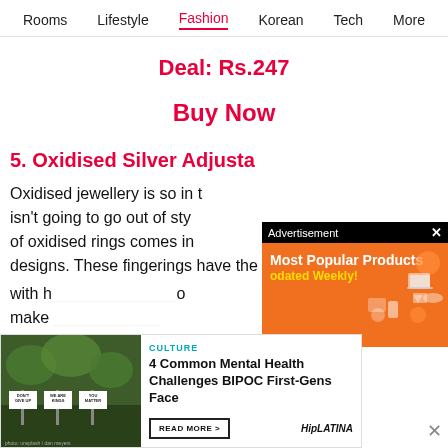Rooms  Lifestyle  Fashion  Korean  Tech  More
Deal: Rs.247
Buy Now
5. Oxidised Silver Adjustable Ring
Oxidised jewellery is so in trend and it isn't going to go out of style soon. This set of oxidised rings comes in different designs. These fingerings have the ability to single
[Figure (infographic): Advertisement overlay with orange background showing 'Most Popular Products Updated Weekly!' text with illustrated icons of various products on right side]
[Figure (infographic): Promotional card for HipLatina article about '4 Common Mental Health Challenges BIPOC First-Gens Face' with image of protest signs saying DON'T GIVE UP, WE ARE KINGS, YOU MATTER. Includes CULTURE label, READ MORE button, and HipLATINA branding.]
with h... make...